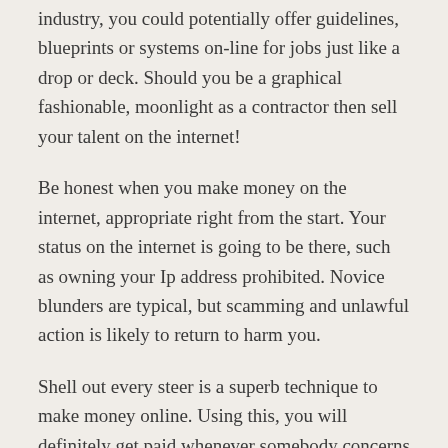industry, you could potentially offer guidelines, blueprints or systems on-line for jobs just like a drop or deck. Should you be a graphical fashionable, moonlight as a contractor then sell your talent on the internet!
Be honest when you make money on the internet, appropriate right from the start. Your status on the internet is going to be there, such as owning your Ip address prohibited. Novice blunders are typical, but scamming and unlawful action is likely to return to harm you.
Shell out every steer is a superb technique to make money online. Using this, you will definitely get paid whenever somebody concerns the web page that you refer these people to. This will mount up if you can to have a lot of people in the future. For those who have a plethora of Tweets readers or Fb close friends, this